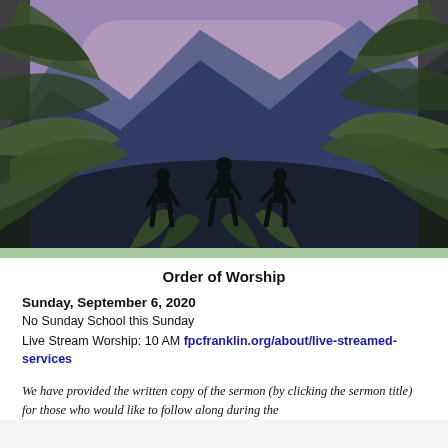[Figure (illustration): Illustrated scene showing three human silhouettes standing on a hill surrounded by tropical/jungle foliage (large green leaves and fronds) against a twilight sky with mountain peaks in the background. Colors: deep purple-blue sky, dark blue mountains, dark brown ground, dark green foliage silhouettes.]
Order of Worship
Sunday, September 6, 2020
No Sunday School this Sunday
Live Stream Worship: 10 AM fpcfranklin.org/about/live-streamed-services
We have provided the written copy of the sermon (by clicking the sermon title) for those who would like to follow along during the